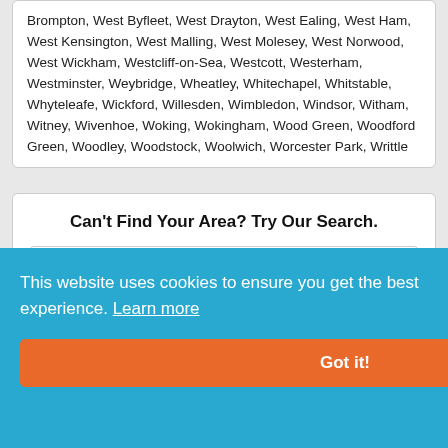Brompton, West Byfleet, West Drayton, West Ealing, West Ham, West Kensington, West Malling, West Molesey, West Norwood, West Wickham, Westcliff-on-Sea, Westcott, Westerham, Westminster, Weybridge, Wheatley, Whitechapel, Whitstable, Whyteleafe, Wickford, Willesden, Wimbledon, Windsor, Witham, Witney, Wivenhoe, Woking, Wokingham, Wood Green, Woodford Green, Woodley, Woodstock, Woolwich, Worcester Park, Writtle
Can't Find Your Area? Try Our Search.
Search Areas Covered
Search
If your area is not listed on this page, it does not mean we will not cover it. Please call us on 020 3900 0301 to find out if and
This website uses cookies to ensure you get the best experience. Learn more
Got it!
About Us | Our Blog | FAQs